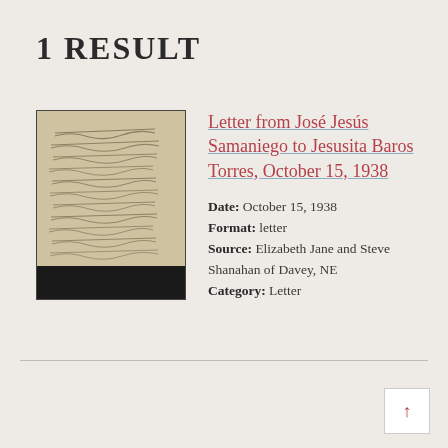1 RESULT
[Figure (photo): Thumbnail image of a handwritten historical letter on aged/yellowed paper with cursive script, dark background at bottom edge.]
Letter from José Jesús Samaniego to Jesusita Baros Torres, October 15, 1938
Date: October 15, 1938
Format: letter
Source: Elizabeth Jane and Steve Shanahan of Davey, NE
Category: Letter